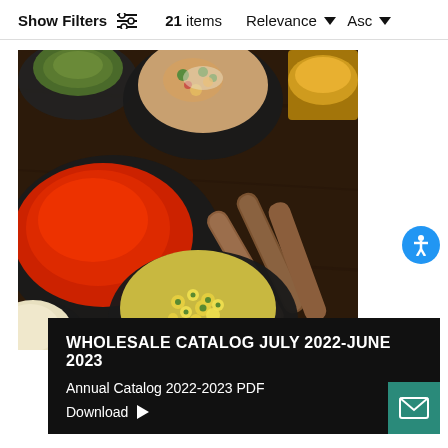Show Filters  21 items  Relevance ∨  Asc ∨
[Figure (photo): Overhead view of multiple black square bowls containing colorful spices and herbs including red chili powder, mixed spices, chamomile flowers, and cinnamon sticks arranged on a dark wooden surface]
WHOLESALE CATALOG JULY 2022-JUNE 2023
Annual Catalog 2022-2023 PDF
Download >